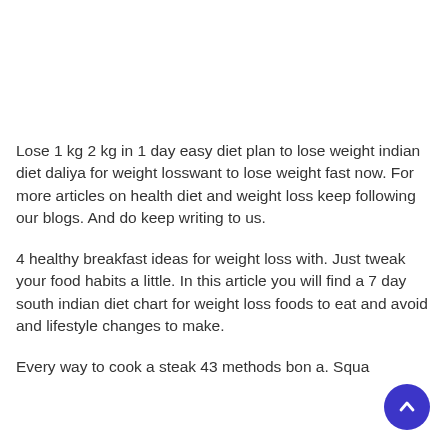Lose 1 kg 2 kg in 1 day easy diet plan to lose weight indian diet daliya for weight losswant to lose weight fast now. For more articles on health diet and weight loss keep following our blogs. And do keep writing to us.
4 healthy breakfast ideas for weight loss with. Just tweak your food habits a little. In this article you will find a 7 day south indian diet chart for weight loss foods to eat and avoid and lifestyle changes to make.
Every way to cook a steak 43 methods bon a. Squa...